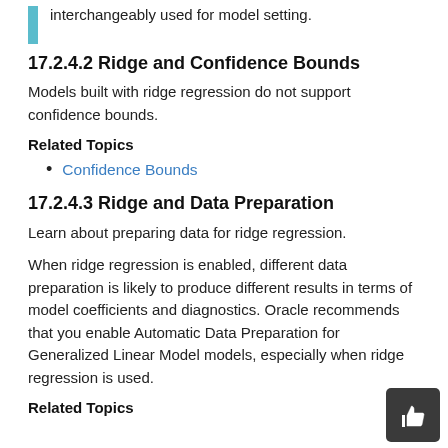interchangeably used for model setting.
17.2.4.2 Ridge and Confidence Bounds
Models built with ridge regression do not support confidence bounds.
Related Topics
Confidence Bounds
17.2.4.3 Ridge and Data Preparation
Learn about preparing data for ridge regression.
When ridge regression is enabled, different data preparation is likely to produce different results in terms of model coefficients and diagnostics. Oracle recommends that you enable Automatic Data Preparation for Generalized Linear Model models, especially when ridge regression is used.
Related Topics